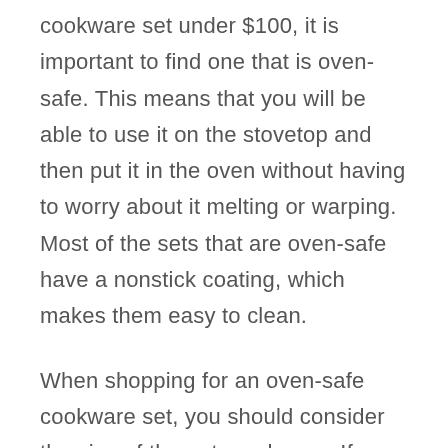cookware set under $100, it is important to find one that is oven-safe. This means that you will be able to use it on the stovetop and then put it in the oven without having to worry about it melting or warping. Most of the sets that are oven-safe have a nonstick coating, which makes them easy to clean.
When shopping for an oven-safe cookware set, you should consider the size of the pots and pans. If you are only cooking for one or two people, you may not need a large set. It is also important to make sure